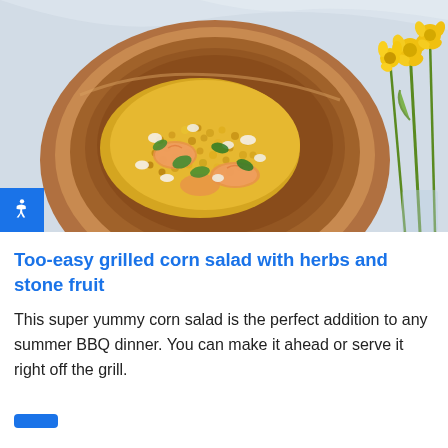[Figure (photo): Overhead photograph of a wooden bowl filled with grilled corn salad topped with herbs, crumbled white cheese, and peach slices. Yellow flowers visible in the upper right. Blue accessibility icon in lower left corner of the image.]
Too-easy grilled corn salad with herbs and stone fruit
This super yummy corn salad is the perfect addition to any summer BBQ dinner. You can make it ahead or serve it right off the grill.